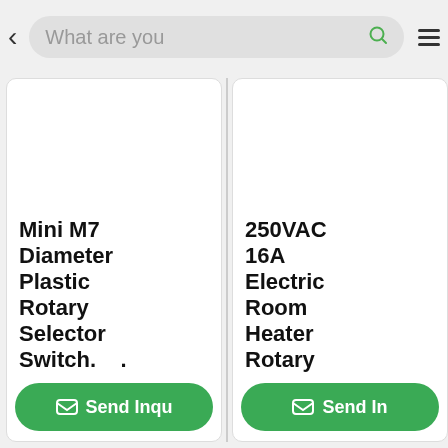What are you looking for...
Mini M7 Diameter Plastic Rotary Selector Switch.
Send Inquiry
250VAC 16A Electric Room Heater Rotary
Send Inquiry